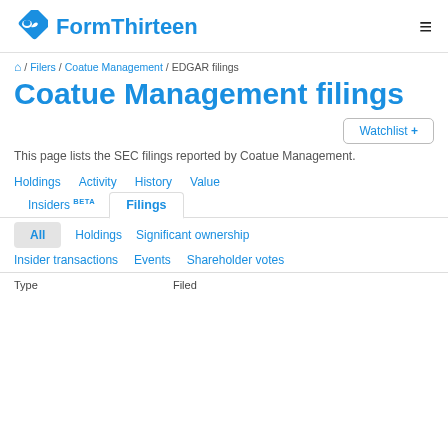FormThirteen
🏠 / Filers / Coatue Management / EDGAR filings
Coatue Management filings
Watchlist +
This page lists the SEC filings reported by Coatue Management.
Holdings  Activity  History  Value
Insiders BETA  Filings
All  Holdings  Significant ownership
Insider transactions  Events  Shareholder votes
| Type | Filed |
| --- | --- |